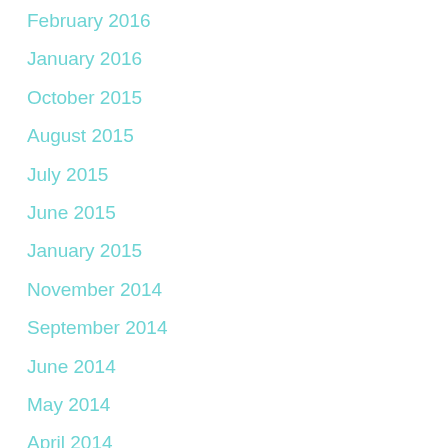February 2016
January 2016
October 2015
August 2015
July 2015
June 2015
January 2015
November 2014
September 2014
June 2014
May 2014
April 2014
March 2014
February 2014
January 2014
December 2013
November 2013
September 2013